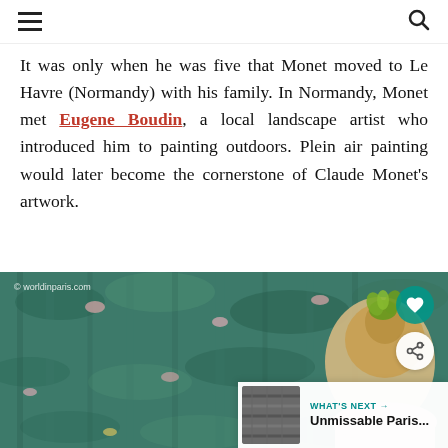≡  🔍
It was only when he was five that Monet moved to Le Havre (Normandy) with his family. In Normandy, Monet met Eugene Boudin, a local landscape artist who introduced him to painting outdoors. Plein air painting would later become the cornerstone of Claude Monet's artwork.
[Figure (photo): A woman with blonde hair in a bun adorned with a green plant/succulent, wearing a grey top, viewed from behind while looking at Claude Monet's Water Lilies painting. Watermark reads '© worldinparis.com'. A teal heart button and white share button are visible in the upper right. A 'WHAT'S NEXT' banner with 'Unmissable Paris...' appears in the lower right corner.]